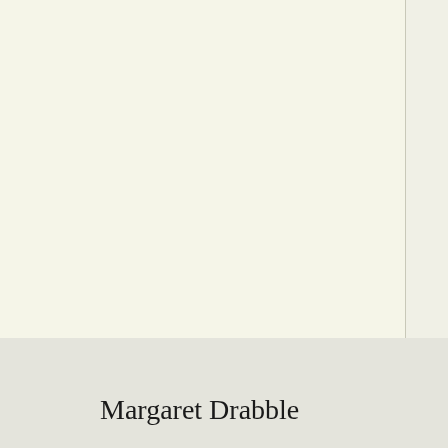[Figure (other): Mostly blank cream/off-white page background with a white rectangular panel inset at the top-right corner, suggesting a book cover or title page layout.]
Margaret Drabble